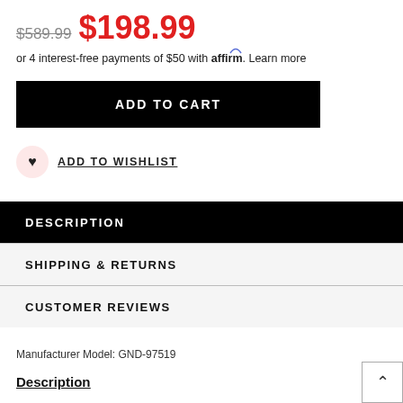$589.99  $198.99
or 4 interest-free payments of $50 with affirm. Learn more
ADD TO CART
ADD TO WISHLIST
DESCRIPTION
SHIPPING & RETURNS
CUSTOMER REVIEWS
Manufacturer Model: GND-97519
Description